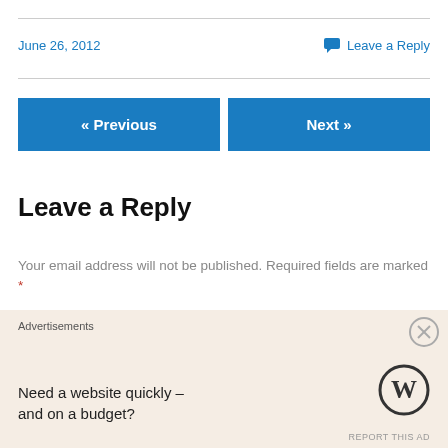June 26, 2012
Leave a Reply
« Previous
Next »
Leave a Reply
Your email address will not be published. Required fields are marked *
Comment *
Advertisements
Need a website quickly – and on a budget?